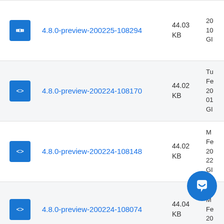4.8.0-preview-200225-108294 44.03 KB
4.8.0-preview-200224-108170 44.02 KB
4.8.0-preview-200224-108148 44.02 KB
4.8.0-preview-200224-108074 44.04 KB